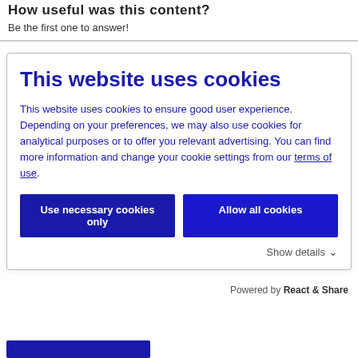How useful was this content?
Be the first one to answer!
This website uses cookies
This website uses cookies to ensure good user experience. Depending on your preferences, we may also use cookies for analytical purposes or to offer you relevant advertising. You can find more information and change your cookie settings from our terms of use.
Use necessary cookies only
Allow all cookies
Show details
Powered by React & Share